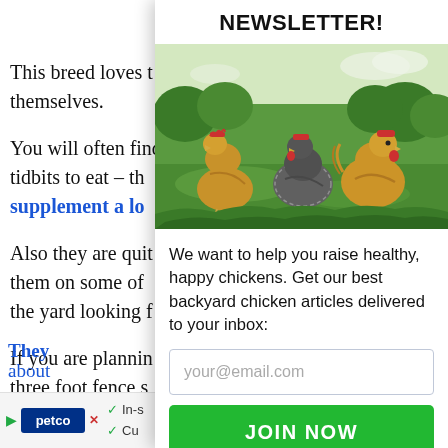This breed loves [to keep to] themselves.
You will often find [them foraging for] tidbits to eat – the[y can really supplement a lo[t of their diet]
Also they are quit[e hardy. You can keep] them on some of [the more challenging] the yard looking f[or bugs]
If you are plannin[g to keep them, a] three foot fence s[hould be plenty.]
NEWSLETTER!
[Figure (photo): Photograph of several chickens (hens) standing in a grassy outdoor field with trees in background]
We want to help you raise healthy, happy chickens. Get our best backyard chicken articles delivered to your inbox:
your@email.com
JOIN NOW
They [are great foragers] about[...]